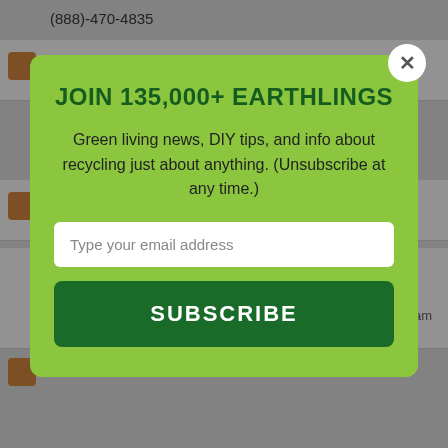(888)-470-4835
1700 Broadway Street NE
Minneapolis, MN 55413
Mail-in Program
Waste To Green
JOIN 135,000+ EARTHLINGS
Green living news, DIY tips, and info about recycling just about anything. (Unsubscribe at any time.)
Type your email address
SUBSCRIBE